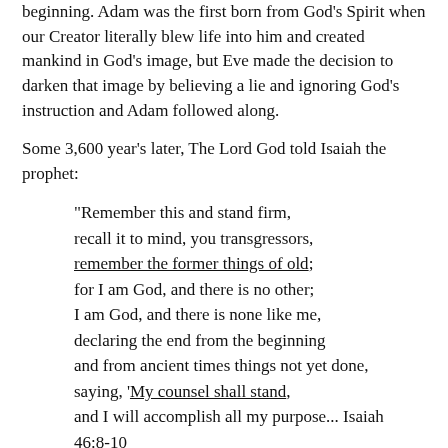beginning. Adam was the first born from God's Spirit when our Creator literally blew life into him and created mankind in God's image, but Eve made the decision to darken that image by believing a lie and ignoring God's instruction and Adam followed along.
Some 3,600 year's later, The Lord God told Isaiah the prophet:
“Remember this and stand firm, recall it to mind, you transgressors, remember the former things of old; for I am God, and there is no other; I am God, and there is none like me, declaring the end from the beginning and from ancient times things not yet done, saying, ‘My counsel shall stand, and I will accomplish all my purpose... Isaiah 46:8-10
The Master Rabbi Yeshua taught Nicodemus a Torah teacher of Israel the goal of God's counsel declared in Genesis 3:15, but Nicodemus struggled to see the light just